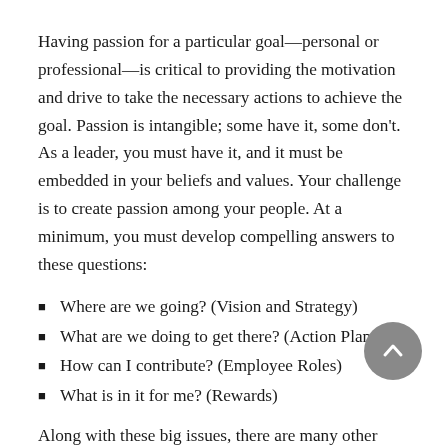Having passion for a particular goal—personal or professional—is critical to providing the motivation and drive to take the necessary actions to achieve the goal. Passion is intangible; some have it, some don't. As a leader, you must have it, and it must be embedded in your beliefs and values. Your challenge is to create passion among your people. At a minimum, you must develop compelling answers to these questions:
Where are we going? (Vision and Strategy)
What are we doing to get there? (Action Plans)
How can I contribute? (Employee Roles)
What is in it for me? (Rewards)
Along with these big issues, there are many other